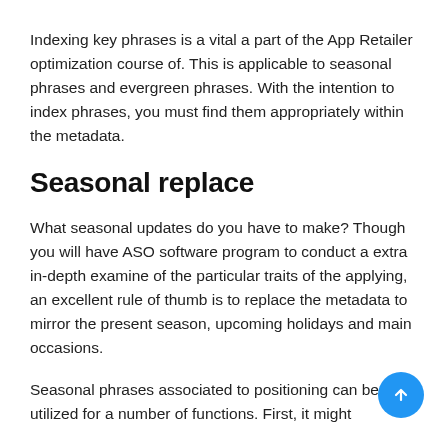Indexing key phrases is a vital a part of the App Retailer optimization course of. This is applicable to seasonal phrases and evergreen phrases. With the intention to index phrases, you must find them appropriately within the metadata.
Seasonal replace
What seasonal updates do you have to make? Though you will have ASO software program to conduct a extra in-depth examine of the particular traits of the applying, an excellent rule of thumb is to replace the metadata to mirror the present season, upcoming holidays and main occasions.
Seasonal phrases associated to positioning can be utilized for a number of functions. First, it might